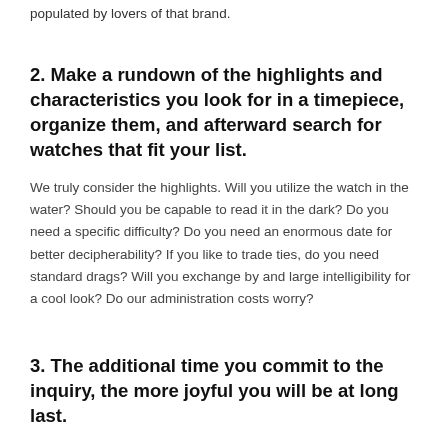populated by lovers of that brand.
2. Make a rundown of the highlights and characteristics you look for in a timepiece, organize them, and afterward search for watches that fit your list.
We truly consider the highlights. Will you utilize the watch in the water? Should you be capable to read it in the dark? Do you need a specific difficulty? Do you need an enormous date for better decipherability? If you like to trade ties, do you need standard drags? Will you exchange by and large intelligibility for a cool look? Do our administration costs worry?
3. The additional time you commit to the inquiry, the more joyful you will be at long last.